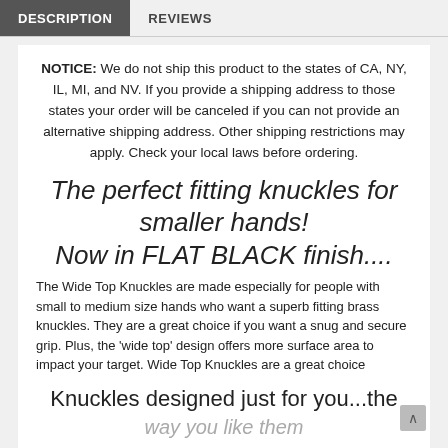DESCRIPTION   REVIEWS
NOTICE: We do not ship this product to the states of CA, NY, IL, MI, and NV. If you provide a shipping address to those states your order will be canceled if you can not provide an alternative shipping address. Other shipping restrictions may apply. Check your local laws before ordering.
The perfect fitting knuckles for smaller hands!
Now in FLAT BLACK finish....
The Wide Top Knuckles are made especially for people with small to medium size hands who want a superb fitting brass knuckles. They are a great choice if you want a snug and secure grip. Plus, the 'wide top' design offers more surface area to impact your target. Wide Top Knuckles are a great choice
Knuckles designed just for you...the